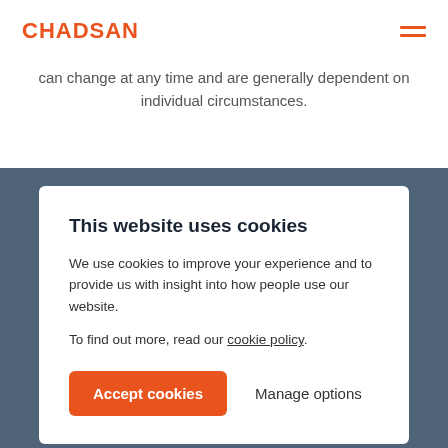CHADSAN
can change at any time and are generally dependent on individual circumstances.
This website uses cookies
We use cookies to improve your experience and to provide us with insight into how people use our website.
To find out more, read our cookie policy.
Accept cookies
Manage options